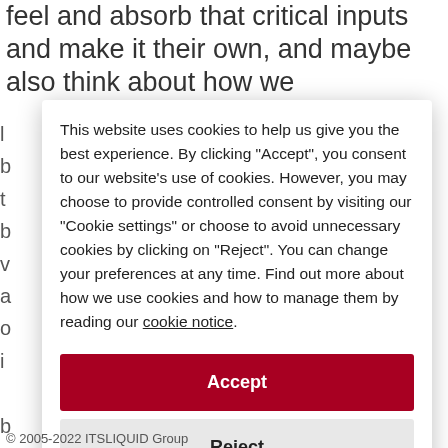feel and absorb that critical inputs and make it their own, and maybe also think about how we
This website uses cookies to help us give you the best experience. By clicking "Accept", you consent to our website's use of cookies. However, you may choose to provide controlled consent by visiting our "Cookie settings" or choose to avoid unnecessary cookies by clicking on "Reject". You can change your preferences at any time. Find out more about how we use cookies and how to manage them by reading our cookie notice.
Accept
Reject
Cookie settings
© 2005-2022 ITSLIQUID Group